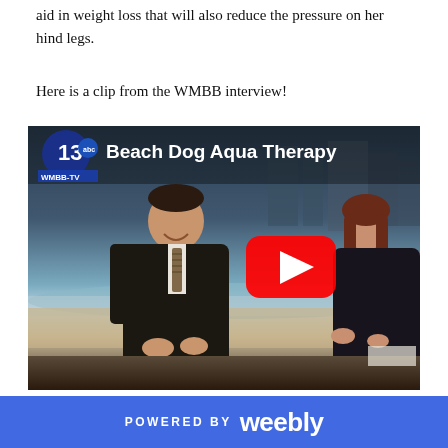aid in weight loss that will also reduce the pressure on her hind legs.
Here is a clip from the WMBB interview!
[Figure (screenshot): YouTube video thumbnail showing two news anchors at a desk with the title 'Beach Dog Aqua Therapy' and channel 13 ABC WMBB-TV logo, with a red YouTube play button overlay]
POWERED BY weebly